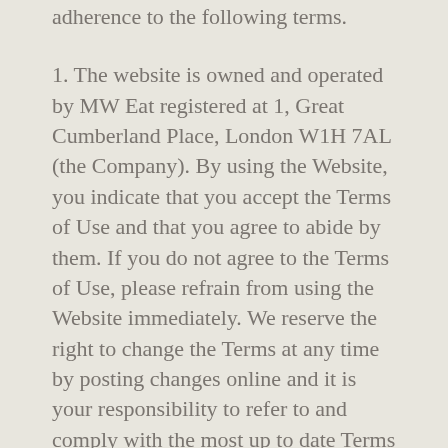adherence to the following terms.
1. The website is owned and operated by MW Eat registered at 1, Great Cumberland Place, London W1H 7AL (the Company). By using the Website, you indicate that you accept the Terms of Use and that you agree to abide by them. If you do not agree to the Terms of Use, please refrain from using the Website immediately. We reserve the right to change the Terms at any time by posting changes online and it is your responsibility to refer to and comply with the most up to date Terms on accessing the Website. Your continued use of the Website after changes are posted constitutes your acceptance of the Terms as modified.